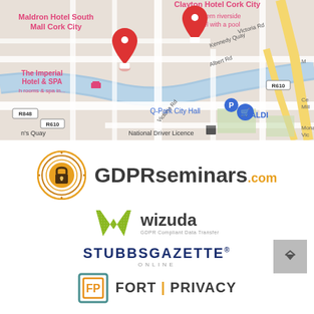[Figure (map): Google Maps view of Cork City area showing Maldron Hotel South Mall, Clayton Hotel Cork City, The Imperial Hotel & SPA, Q-Park City Hall, ALDI, National Driver Licence, roads R848, R610, Kennedy Quay, Victoria Rd, Albert Rd, Monahans Quay area.]
[Figure (logo): GDPRseminars.com logo with orange circular padlock icon]
[Figure (logo): wizuda logo - GDPR Compliant Data Transfer with green W icon]
[Figure (logo): STUBBS GAZETTE ONLINE logo in dark navy blue]
[Figure (logo): FORT PRIVACY logo with orange/teal square bracket icon]